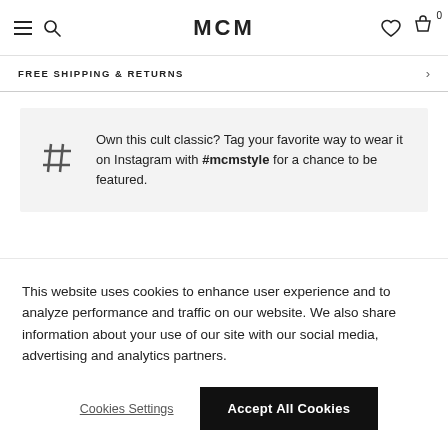MCM
FREE SHIPPING & RETURNS
Own this cult classic? Tag your favorite way to wear it on Instagram with #mcmstyle for a chance to be featured.
This website uses cookies to enhance user experience and to analyze performance and traffic on our website. We also share information about your use of our site with our social media, advertising and analytics partners.
Cookies Settings
Accept All Cookies